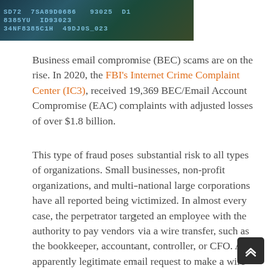[Figure (photo): Cybersecurity themed image with digital code characters in teal/green tones on dark background]
Business email compromise (BEC) scams are on the rise. In 2020, the FBI's Internet Crime Complaint Center (IC3), received 19,369 BEC/Email Account Compromise (EAC) complaints with adjusted losses of over $1.8 billion.
This type of fraud poses substantial risk to all types of organizations. Small businesses, non-profit organizations, and multi-national large corporations have all reported being victimized. In almost every case, the perpetrator targeted an employee with the authority to pay vendors via a wire transfer, such as the bookkeeper, accountant, controller, or CFO. An apparently legitimate email request to make a wire transfer was sent to the individual, typically when the CEO was traveling. However, instead of showing banking details for the appropriate vendor, the transfer request shows bank details for an account controlled by the fraudster. Once the transfer is made, the funds are